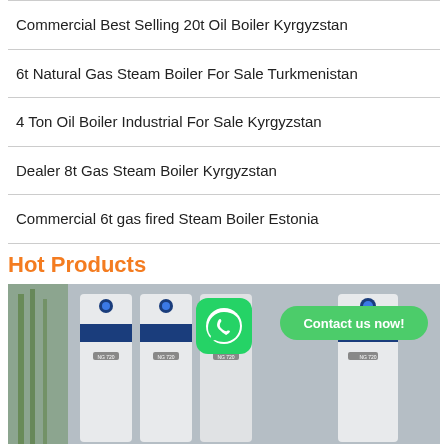Commercial Best Selling 20t Oil Boiler Kyrgyzstan
6t Natural Gas Steam Boiler For Sale Turkmenistan
4 Ton Oil Boiler Industrial For Sale Kyrgyzstan
Dealer 8t Gas Steam Boiler Kyrgyzstan
Commercial 6t gas fired Steam Boiler Estonia
Hot Products
[Figure (photo): Row of white and blue industrial boiler units displayed outdoors against a wall with bamboo plants on the left. A WhatsApp icon and 'Contact us now!' badge overlay the image.]